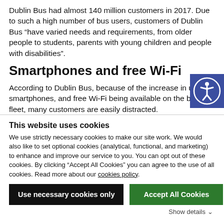Dublin Bus had almost 140 million customers in 2017. Due to such a high number of bus users, customers of Dublin Bus “have varied needs and requirements, from older people to students, parents with young children and people with disabilities”.
Smartphones and free Wi-Fi
[Figure (illustration): Accessibility icon: white figure with arms outstretched in a circle on a dark blue/indigo background square]
According to Dublin Bus, because of the increase in use of smartphones, and free Wi-Fi being available on the bus fleet, many customers are easily distracted.
This website uses cookies
We use strictly necessary cookies to make our site work. We would also like to set optional cookies (analytical, functional, and marketing) to enhance and improve our service to you. You can opt out of these cookies. By clicking “Accept All Cookies” you can agree to the use of all cookies. Read more about our cookies policy.
Use necessary cookies only
Accept All Cookies
Show details